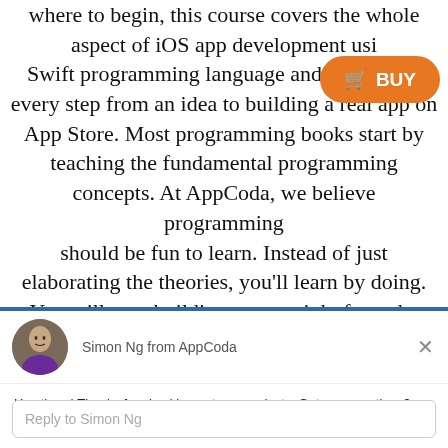where to begin, this course covers the whole aspect of iOS app development using Swift programming language and shows you every step from an idea to building a real app on App Store. Most programming books start by teaching the fundamental programming concepts. At AppCoda, we believe programming should be fun to learn. Instead of just elaborating the theories, you'll learn by doing. You will start building an app right from the
[Figure (infographic): Chat widget popup with Simon Ng from AppCoda avatar, name label, close button (X), greeting message, and reply input box]